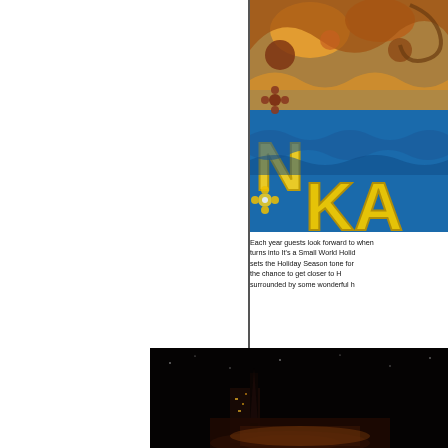[Figure (illustration): Colorful illustrated artwork showing tropical/Hawaiian themed design with yellow stylized text letters 'KA' visible on a blue background, with decorative floral and wave motifs in bright colors]
Each year guests look forward to when turns into It's a Small World Holiday sets the Holiday Season tone for the chance to get closer to H surrounded by some wonderful h
[Figure (photo): Nighttime photo showing illuminated attractions against a dark background, appearing to be a theme park at night with lights visible]